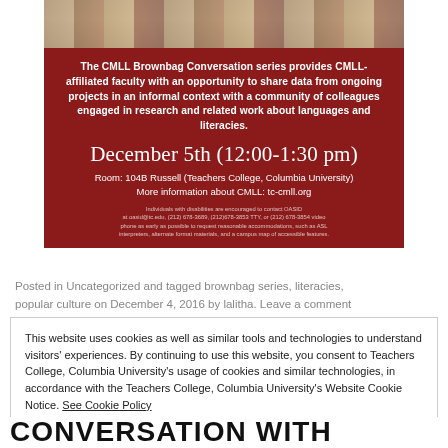[Figure (photo): Top portion of a group photo showing people, partially cropped, above the red flyer area]
The CMLL Brownbag Conversation series provides CMLL-affiliated faculty with an opportunity to share data from ongoing projects in an informal context with a community of colleagues engaged in research and related work about languages and literacies.
December 5th (12:00-1:30 pm)
Room:  104B Russell (Teachers College, Columbia University)
More information about CMLL: tc-cmll.org
Individuals with disabilities are encouraged to contact OASID at oasid@tc.edu, (212) 678-3689, (212)678-3853 TTY, or (212) 678-3854 video phone as early as possible to request reasonable accommodations, such as ASL interpreters, alternate format materials, and a campus map of accessible features.
Posted in Uncategorized and tagged brownbag series, literacies, popular culture on December 4, 2016 by lalitha. Leave a comment
This website uses cookies as well as similar tools and technologies to understand visitors' experiences. By continuing to use this website, you consent to Teachers College, Columbia University's usage of cookies and similar technologies, in accordance with the Teachers College, Columbia University's Website Cookie Notice. See Cookie Policy
Close and accept
CONVERSATION WITH